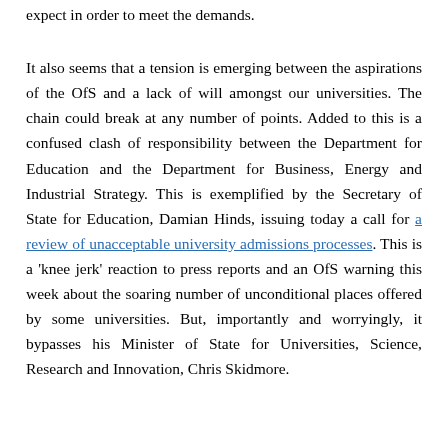expect in order to meet the demands.
It also seems that a tension is emerging between the aspirations of the OfS and a lack of will amongst our universities. The chain could break at any number of points. Added to this is a confused clash of responsibility between the Department for Education and the Department for Business, Energy and Industrial Strategy. This is exemplified by the Secretary of State for Education, Damian Hinds, issuing today a call for a review of unacceptable university admissions processes. This is a 'knee jerk' reaction to press reports and an OfS warning this week about the soaring number of unconditional places offered by some universities. But, importantly and worryingly, it bypasses his Minister of State for Universities, Science, Research and Innovation, Chris Skidmore.